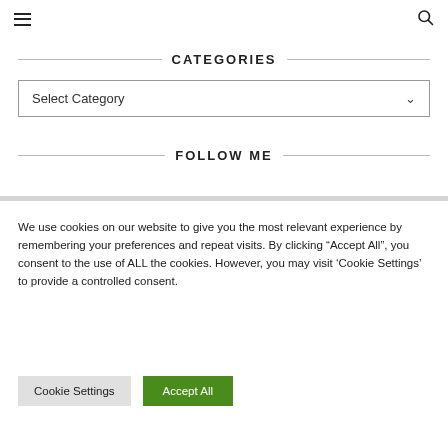Navigation bar with hamburger menu and search icon
CATEGORIES
Select Category
FOLLOW ME
We use cookies on our website to give you the most relevant experience by remembering your preferences and repeat visits. By clicking "Accept All", you consent to the use of ALL the cookies. However, you may visit 'Cookie Settings' to provide a controlled consent.
Cookie Settings | Accept All